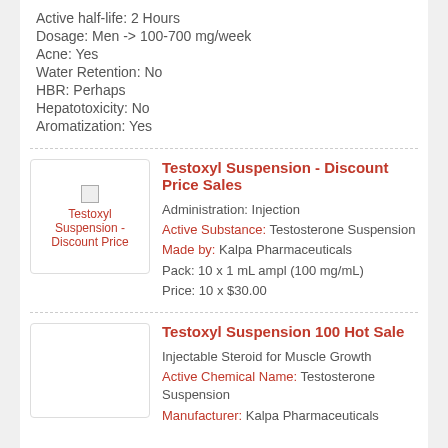Active half-life: 2 Hours
Dosage: Men -> 100-700 mg/week
Acne: Yes
Water Retention: No
HBR: Perhaps
Hepatotoxicity: No
Aromatization: Yes
Testoxyl Suspension - Discount Price Sales
Administration: Injection
Active Substance: Testosterone Suspension
Made by: Kalpa Pharmaceuticals
Pack: 10 x 1 mL ampl (100 mg/mL)
Price: 10 x $30.00
Testoxyl Suspension 100 Hot Sale
Injectable Steroid for Muscle Growth
Active Chemical Name: Testosterone Suspension
Manufacturer: Kalpa Pharmaceuticals